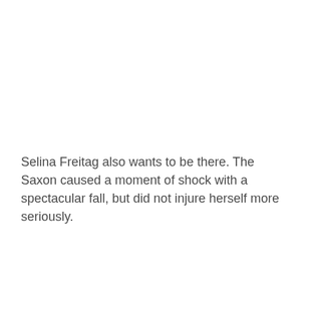Selina Freitag also wants to be there. The Saxon caused a moment of shock with a spectacular fall, but did not injure herself more seriously.